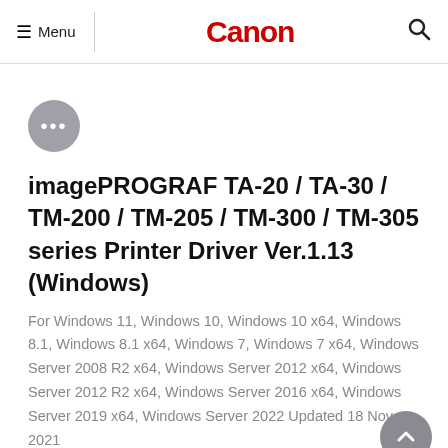≡ Menu  Canon  🔍
[Figure (other): Gray circle button with three dots (ellipsis menu icon)]
imagePROGRAF TA-20 / TA-30 / TM-200 / TM-205 / TM-300 / TM-305 series Printer Driver Ver.1.13 (Windows)
For Windows 11, Windows 10, Windows 10 x64, Windows 8.1, Windows 8.1 x64, Windows 7, Windows 7 x64, Windows Server 2008 R2 x64, Windows Server 2012 x64, Windows Server 2012 R2 x64, Windows Server 2016 x64, Windows Server 2019 x64, Windows Server 2022 Updated 18 Nov 2021